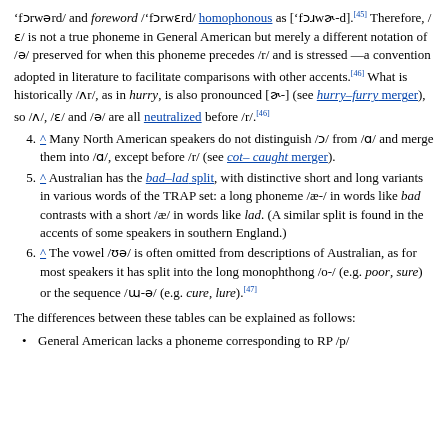'fɔrwərd/ and foreword /'fɔrw3rd/ homophonous as ['fɔɹwɚd].[45] Therefore, /3/ is not a true phoneme in General American but merely a different notation of /ə/ preserved for when this phoneme precedes /r/ and is stressed—a convention adopted in literature to facilitate comparisons with other accents.[46] What is historically /ʌr/, as in hurry, is also pronounced [ɚ] (see hurry–furry merger), so /ʌ/, /3/ and /ə/ are all neutralized before /r/.[46]
4. ^ Many North American speakers do not distinguish /ɔ/ from /ɑ/ and merge them into /ɑ/, except before /r/ (see cot–caught merger).
5. ^ Australian has the bad–lad split, with distinctive short and long variants in various words of the TRAP set: a long phoneme /æː/ in words like bad contrasts with a short /æ/ in words like lad. (A similar split is found in the accents of some speakers in southern England.)
6. ^ The vowel /ʊə/ is often omitted from descriptions of Australian, as for most speakers it has split into the long monophthong /oː/ (e.g. poor, sure) or the sequence /ɯːə/ (e.g. cure, lure).[47]
The differences between these tables can be explained as follows:
General American lacks a phoneme corresponding to RP /p/